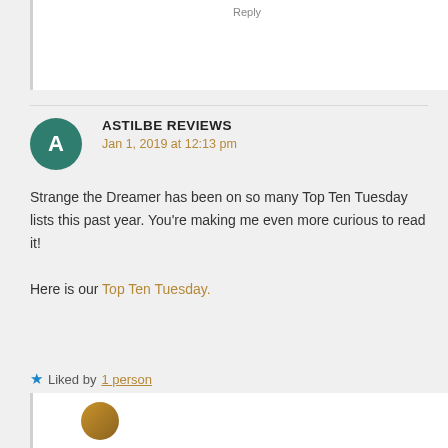Reply
ASTILBE REVIEWS
Jan 1, 2019 at 12:13 pm
Strange the Dreamer has been on so many Top Ten Tuesday lists this past year. You're making me even more curious to read it!

Here is our Top Ten Tuesday.
★ Liked by 1 person
Reply →